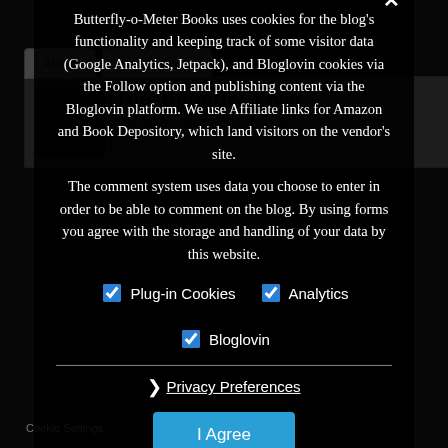About | Latest Posts
The_Butterfly_Livia
Book lover, customizations, OCD-er and
Butterfly-o-Meter Books uses cookies for the blog's functionality and keeping track of some visitor data (Google Analytics, Jetpack), and Bloglovin cookies via the Follow option and publishing content via the Bloglovin platform. We use Affiliate links for Amazon and Book Depository, which land visitors on the vendor's site.
The comment system uses data you choose to enter in order to be able to comment on the blog. By using forms you agree with the storage and handling of your data by this website.
Plug-in Cookies (checked)
Analytics (checked)
Bloglovin (checked)
Privacy Preferences
I Agree
Cookie Settings